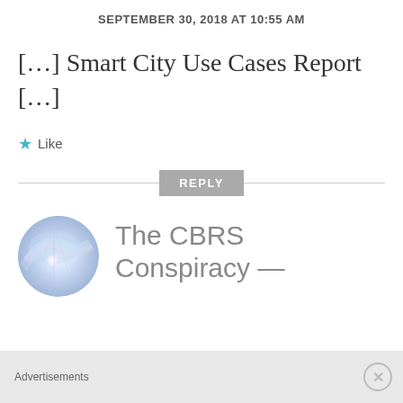SEPTEMBER 30, 2018 AT 10:55 AM
[…] Smart City Use Cases Report […]
★ Like
REPLY
[Figure (photo): Circular avatar image showing an abstract light and rainbow glare pattern]
The CBRS Conspiracy —
Advertisements